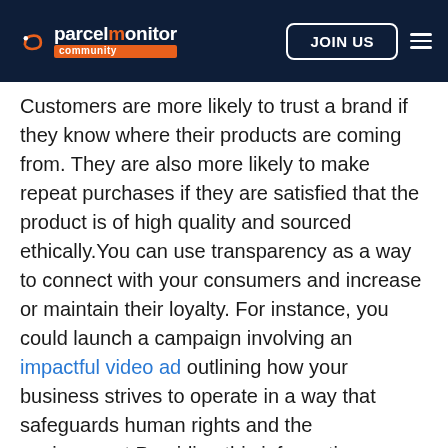parcelmonitor community — JOIN US
Customers are more likely to trust a brand if they know where their products are coming from. They are also more likely to make repeat purchases if they are satisfied that the product is of high quality and sourced ethically.You can use transparency as a way to connect with your consumers and increase or maintain their loyalty. For instance, you could launch a campaign involving an impactful video ad outlining how your business strives to operate in a way that safeguards human rights and the environment.Providing this information on your brand website can also influence a customer's decision as to whether they want to give you their business. For example, for an e-commerce business, there is a relatively short window of time during which the customer can be convinced to